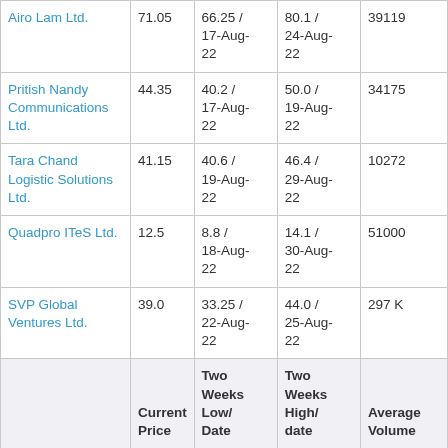| Name | Current Price | Two Weeks Low/ Date | Two Weeks High/ date | Average Volume (t) |
| --- | --- | --- | --- | --- |
| Airo Lam Ltd. | 71.05 | 66.25 / 17-Aug-22 | 80.1 / 24-Aug-22 | 39119 |
| Pritish Nandy Communications Ltd. | 44.35 | 40.2 / 17-Aug-22 | 50.0 / 19-Aug-22 | 34175 |
| Tara Chand Logistic Solutions Ltd. | 41.15 | 40.6 / 19-Aug-22 | 46.4 / 29-Aug-22 | 10272 |
| Quadpro ITeS Ltd. | 12.5 | 8.8 / 18-Aug-22 | 14.1 / 30-Aug-22 | 51000 |
| SVP Global Ventures Ltd. | 39.0 | 33.25 / 22-Aug-22 | 44.0 / 25-Aug-22 | 297 K |
|  |  | Two Weeks Low/ | Two Weeks High/ | Average Volume |